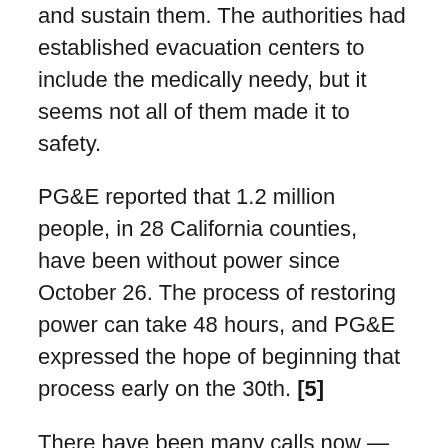and sustain them. The authorities had established evacuation centers to include the medically needy, but it seems not all of them made it to safety.
PG&E reported that 1.2 million people, in 28 California counties, have been without power since October 26. The process of restoring power can take 48 hours, and PG&E expressed the hope of beginning that process early on the 30th. [5]
There have been many calls now — as newspaper editorials, letters-to-the-editor, comments on social media, angry voices in the streets, and conversations through sporadic telephone connections between cold blacked-out homes — for the State of California to take over PG&E and run it as a publicly owned electric and gas utility.
Besides losing lights, reliable refrigeration (for food and